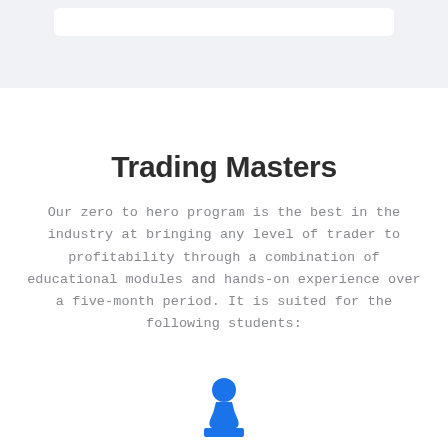Trading Masters
Our zero to hero program is the best in the industry at bringing any level of trader to profitability through a combination of educational modules and hands-on experience over a five-month period. It is suited for the following students:
[Figure (illustration): Blue chess pawn icon representing a promising trader]
Promising Traders